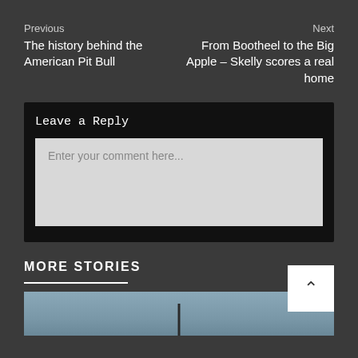Previous
The history behind the American Pit Bull
Next
From Bootheel to the Big Apple – Skelly scores a real home
Leave a Reply
Enter your comment here...
MORE STORIES
[Figure (photo): Partial photo of a sky with utility poles and wires visible at bottom]